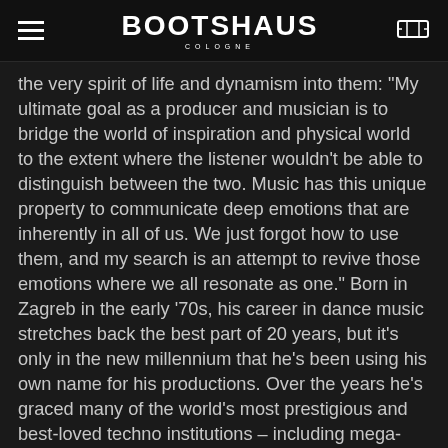BOOTSHAUS COLOGNE
the very spirit of life and dynamism into them: "My ultimate goal as a producer and musician is to bridge the world of inspiration and physical world to the extent where the listener wouldn't be able to distinguish between the two. Music has this unique property to communicate deep emotions that are inherently in all of us. We just forgot how to use them, and my search is an attempt to revive those emotions where we all resonate as one." Born in Zagreb in the early '70s, his career in dance music stretches back the best part of 20 years, but it's only in the new millennium that he's been using his own name for his productions. Over the years he's graced many of the world's most prestigious and best-loved techno institutions – including mega-festivals I Love Techno, EXIT, Awakenings and Wire, and cutting-edge clubs like Berghain, Matter (RIP), Womb, Air, Fuse and Space. He counts a longstanding relationship with Belgium's legendary Music Man label amongst his